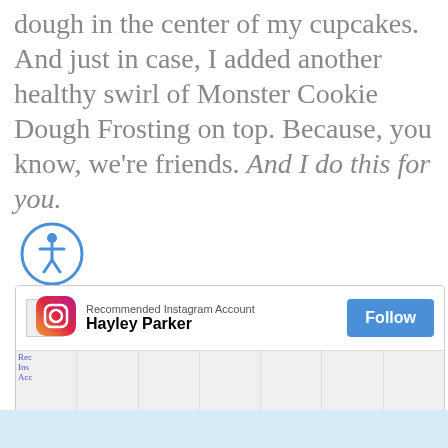dough in the center of my cupcakes. And just in case, I added another healthy swirl of Monster Cookie Dough Frosting on top. Because, you know, we're friends. And I do this for you.
[Figure (other): Accessibility icon — circular blue outlined icon with a stylized person figure]
[Figure (screenshot): MiloTree Instagram widget popup showing 'Recommended Instagram Account Hayley Parker' with a Follow button and a grid of Instagram photo thumbnails, and a 'Powered by MiloTree' footer with X CLOSE button]